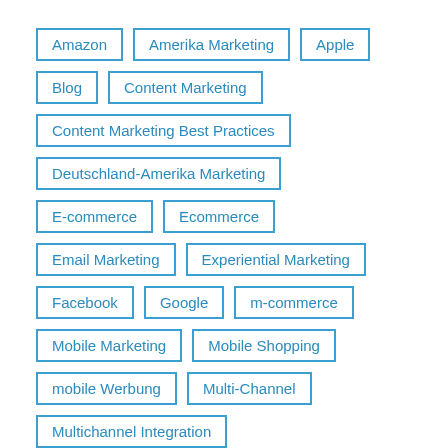Amazon
Amerika Marketing
Apple
Blog
Content Marketing
Content Marketing Best Practices
Deutschland-Amerika Marketing
E-commerce
Ecommerce
Email Marketing
Experiential Marketing
Facebook
Google
m-commerce
Mobile Marketing
Mobile Shopping
mobile Werbung
Multi-Channel
Multichannel Integration